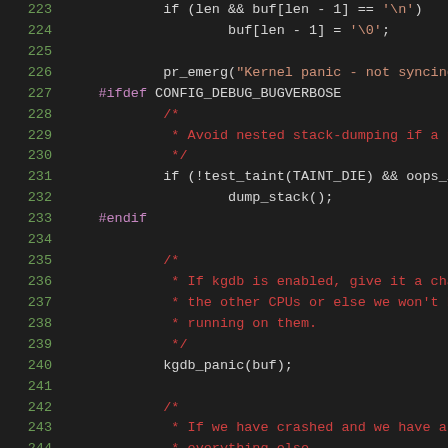[Figure (screenshot): Source code listing of Linux kernel panic function, lines 223-244, shown in a dark-themed code editor with syntax highlighting. Line numbers in green on left, preprocessor directives in purple, comments in red, string literals in orange, regular code in white/light gray.]